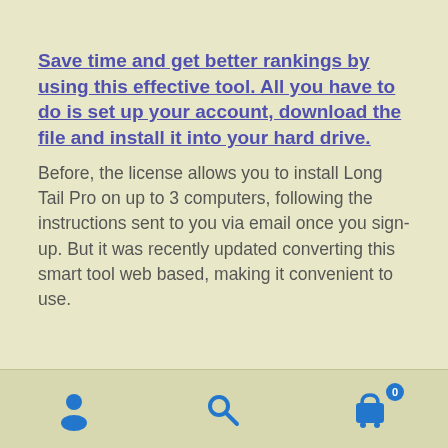Save time and get better rankings by using this effective tool. All you have to do is set up your account, download the file and install it into your hard drive.
Before, the license allows you to install Long Tail Pro on up to 3 computers, following the instructions sent to you via email once you sign-up. But it was recently updated converting this smart tool web based, making it convenient to use.
[user icon] [search icon] [cart icon with badge 0]